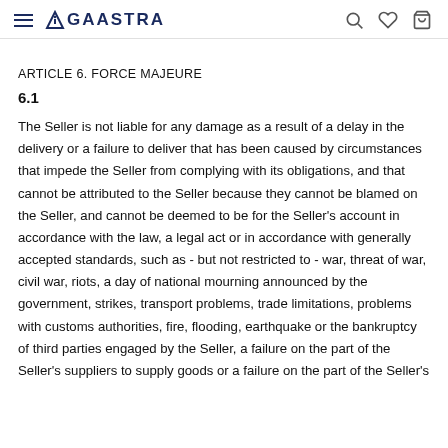AGAASTRA
ARTICLE 6. FORCE MAJEURE
6.1
The Seller is not liable for any damage as a result of a delay in the delivery or a failure to deliver that has been caused by circumstances that impede the Seller from complying with its obligations, and that cannot be attributed to the Seller because they cannot be blamed on the Seller, and cannot be deemed to be for the Seller's account in accordance with the law, a legal act or in accordance with generally accepted standards, such as - but not restricted to - war, threat of war, civil war, riots, a day of national mourning announced by the government, strikes, transport problems, trade limitations, problems with customs authorities, fire, flooding, earthquake or the bankruptcy of third parties engaged by the Seller, a failure on the part of the Seller's suppliers to supply goods or a failure on the part of the Seller's